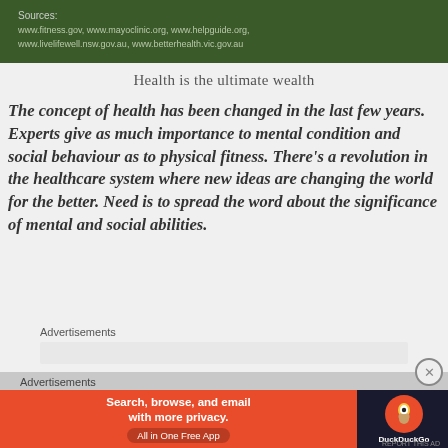[Figure (screenshot): Green banner with sources listing: www.fitness.gov, www.mayoclinic.org, www.helpguide.org, www.livelifewell.nsw.gov.au, www.betterhealth.vic.gov.au]
Health is the ultimate wealth
The concept of health has been changed in the last few years. Experts give as much importance to mental condition and social behaviour as to physical fitness. There's a revolution in the healthcare system where new ideas are changing the world for the better. Need is to spread the word about the significance of mental and social abilities.
Advertisements
Advertisements
[Figure (screenshot): DuckDuckGo advertisement banner: Search, browse, and email with more privacy. All in One Free App. Orange and dark background with DuckDuckGo logo.]